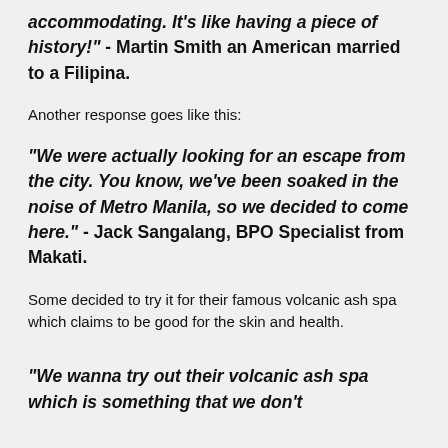accommodating. It's like having a piece of history!" - Martin Smith an American married to a Filipina.
Another response goes like this:
"We were actually looking for an escape from the city. You know, we've been soaked in the noise of Metro Manila, so we decided to come here." - Jack Sangalang, BPO Specialist from Makati.
Some decided to try it for their famous volcanic ash spa which claims to be good for the skin and health.
"We wanna try out their volcanic ash spa which is something that we don't